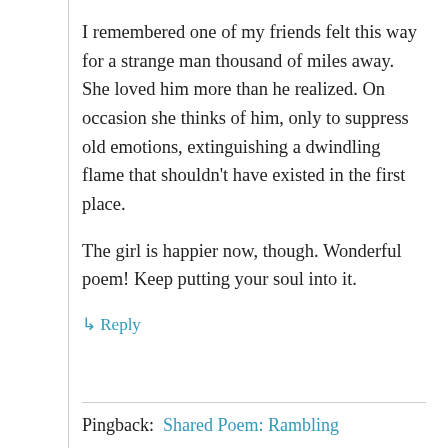I remembered one of my friends felt this way for a strange man thousand of miles away. She loved him more than he realized. On occasion she thinks of him, only to suppress old emotions, extinguishing a dwindling flame that shouldn't have existed in the first place.
The girl is happier now, though. Wonderful poem! Keep putting your soul into it.
↳ Reply
Pingback: Shared Poem: Rambling